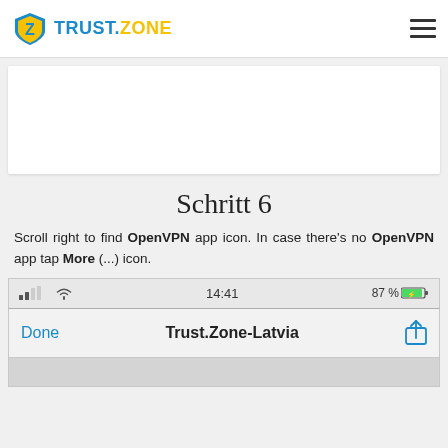TRUST.ZONE
[Figure (screenshot): Blank white card/image area at top of page]
Schritt 6
Scroll right to find OpenVPN app icon. In case there's no OpenVPN app tap More (...) icon.
[Figure (screenshot): iOS mobile browser screenshot showing status bar with signal, wifi, time 14:41, battery 87%, navigation bar with Done button, Trust.Zone-Latvia title, and share icon]